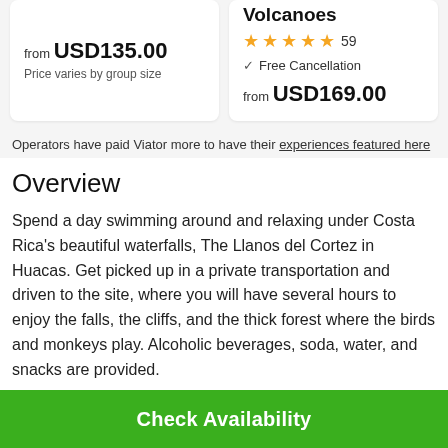from USD135.00
Price varies by group size
Volcanoes ★★★★★ 59
✓ Free Cancellation
from USD169.00
Operators have paid Viator more to have their experiences featured here
Overview
Spend a day swimming around and relaxing under Costa Rica's beautiful waterfalls, The Llanos del Cortez in Huacas. Get picked up in a private transportation and driven to the site, where you will have several hours to enjoy the falls, the cliffs, and the thick forest where the birds and monkeys play. Alcoholic beverages, soda, water, and snacks are provided.
Check Availability